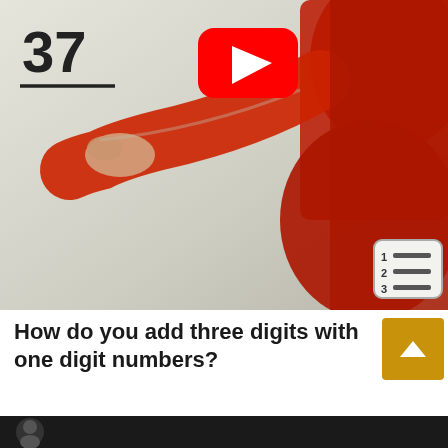[Figure (screenshot): Video thumbnail showing a person in a red sweater writing the number 37 on a whiteboard, with a YouTube play button overlay and a numbered list icon in the bottom right corner.]
How do you add three digits with one digit numbers?
[Figure (screenshot): Bottom strip/thumbnail preview of another video (dark background with partial face visible)]